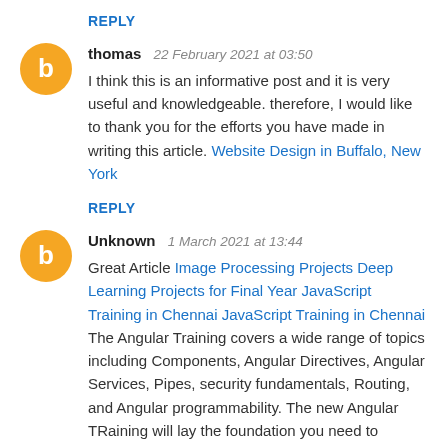REPLY
thomas  22 February 2021 at 03:50
I think this is an informative post and it is very useful and knowledgeable. therefore, I would like to thank you for the efforts you have made in writing this article. Website Design in Buffalo, New York
REPLY
Unknown  1 March 2021 at 13:44
Great Article Image Processing Projects Deep Learning Projects for Final Year JavaScript Training in Chennai JavaScript Training in Chennai The Angular Training covers a wide range of topics including Components, Angular Directives, Angular Services, Pipes, security fundamentals, Routing, and Angular programmability. The new Angular TRaining will lay the foundation you need to specialise in Single Page Application developer. Angular Training Project Centers in Chennai